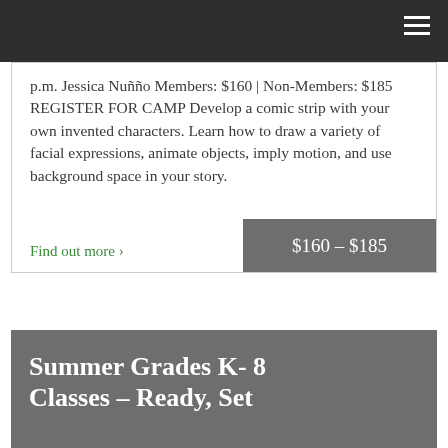[navigation bar with hamburger menu]
p.m. Jessica Nuñño Members: $160 | Non-Members: $185 REGISTER FOR CAMP Develop a comic strip with your own invented characters. Learn how to draw a variety of facial expressions, animate objects, imply motion, and use background space in your story.
Find out more ›
$160 – $185
Summer Grades K– 8 Classes – Ready, Set